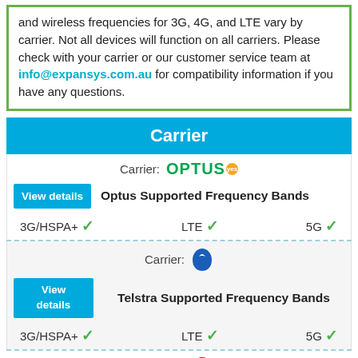and wireless frequencies for 3G, 4G, and LTE vary by carrier. Not all devices will function on all carriers. Please check with your carrier or our customer service team at info@expansys.com.au for compatibility information if you have any questions.
Carrier
Carrier: Optus
View details  Optus Supported Frequency Bands
3G/HSPA+ ✓   LTE ✓   5G ✓
Carrier: Telstra
View details  Telstra Supported Frequency Bands
3G/HSPA+ ✓   LTE ✓   5G ✓
Carrier: Vodafone